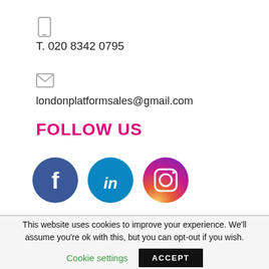T. 020 8342 0795
londonplatformsales@gmail.com
FOLLOW US
[Figure (illustration): Three social media icons: Facebook (dark blue circle with white f), LinkedIn (teal/blue circle with white in), Instagram (pink/orange gradient circle with white camera outline)]
This website uses cookies to improve your experience. We'll assume you're ok with this, but you can opt-out if you wish.
Cookie settings   ACCEPT